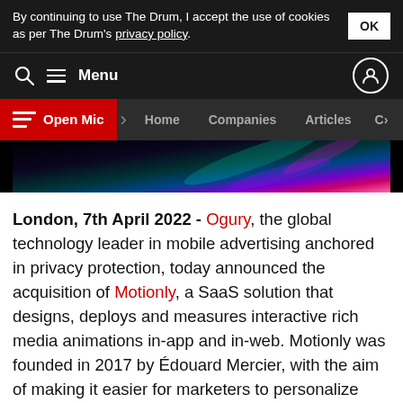By continuing to use The Drum, I accept the use of cookies as per The Drum's privacy policy. OK
Menu
Open Mic | Home | Companies | Articles | C>
[Figure (photo): Abstract dark background with colorful gradient light streaks in purple, teal, and pink tones]
London, 7th April 2022 - Ogury, the global technology leader in mobile advertising anchored in privacy protection, today announced the acquisition of Motionly, a SaaS solution that designs, deploys and measures interactive rich media animations in-app and in-web. Motionly was founded in 2017 by Édouard Mercier, with the aim of making it easier for marketers to personalize digital content in order to boost user attention and